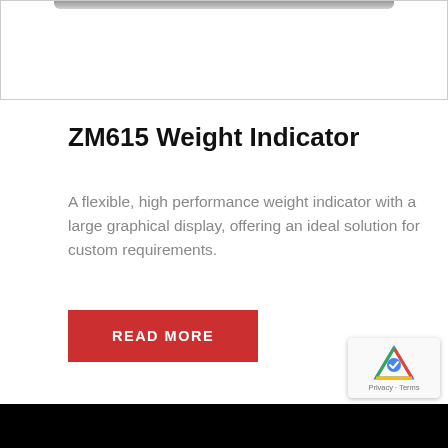[Figure (photo): Top portion of a product image (weight indicator device) partially visible at the top of the page, shown inside a bordered box]
ZM615 Weight Indicator
A flexible, high performance weight indicator with a large graphical display, offering an ideal solution for custom requirements.
READ MORE